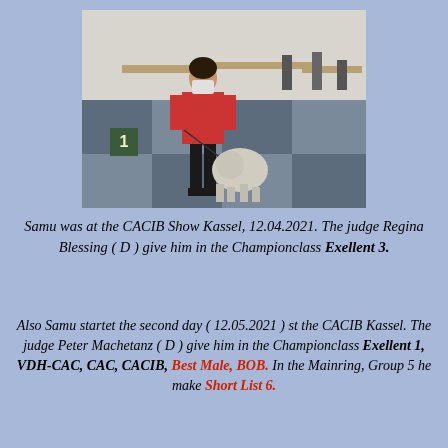[Figure (photo): Woman in red jacket wearing a face mask, standing in an exhibition hall with a fluffy grey dog on a leash. A number 1 placard is visible on the left. Other people and tables are visible in the background.]
Samu was at the CACIB Show Kassel, 12.04.2021. The judge Regina Blessing ( D ) give him in the Championclass Exellent 3.
Also Samu startet the second day ( 12.05.2021 ) st the CACIB Kassel. The judge Peter Machetanz ( D ) give him in the Championclass Exellent 1, VDH-CAC, CAC, CACIB, Best Male, BOB. In the Mainring, Group 5 he make Short List 6.